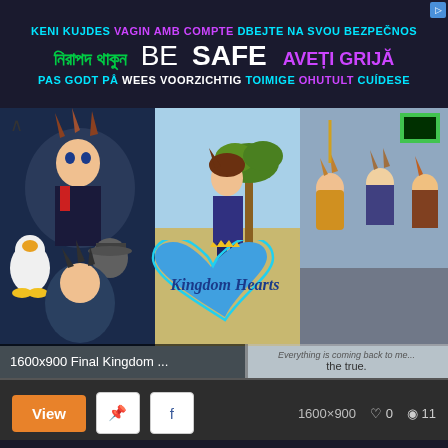[Figure (infographic): Multilingual 'BE SAFE' banner advertisement with text in multiple languages including Bengali, Catalan, Czech, Dutch, Estonian, Finnish, Norwegian, Romanian, and Spanish. Center text reads 'BE SAFE' in large white bold letters.]
[Figure (screenshot): Screenshot of a wallpaper website showing a Kingdom Hearts anime wallpaper (1600x900). The image shows multiple Kingdom Hearts anime characters. Overlay text reads '1600x900 Final Kingdom ...' on left and 'Everything is coming back to me... the true.' on right.]
1600x900 Final Kingdom ...
Everything is coming back to me... the true.
[Figure (screenshot): Action bar with orange 'View' button, Pinterest and Facebook share buttons, and stats showing 1600x900, 0 likes, 11 views.]
View
1600×900   ♡ 0   ◉ 11
[Figure (illustration): Second Kingdom Hearts anime wallpaper showing multiple characters in dark dramatic scene with a large circular motif in center.]